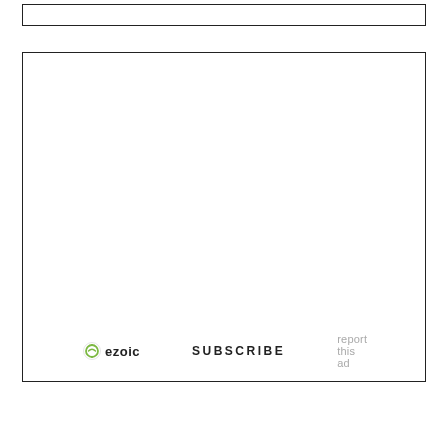[Figure (other): Top bordered empty box, representing an advertisement or content placeholder]
[Figure (other): Large bordered empty box with Ezoic ad footer showing Ezoic logo, SUBSCRIBE link, and report this ad text]